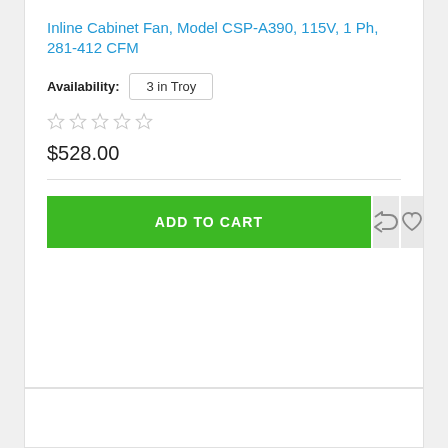Inline Cabinet Fan, Model CSP-A390, 115V, 1 Ph, 281-412 CFM
Availability: 3 in Troy
$528.00
ADD TO CART